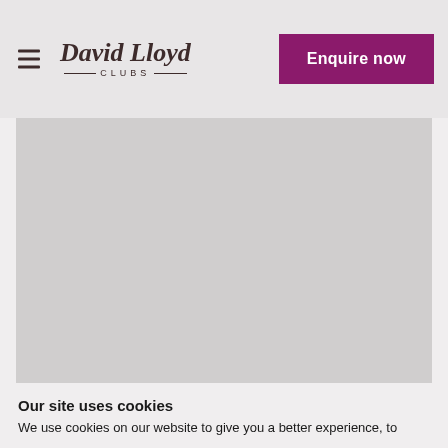David Lloyd Clubs — Enquire now
[Figure (photo): Large gray placeholder image area for a hero/banner photo]
Our site uses cookies
We use cookies on our website to give you a better experience, to